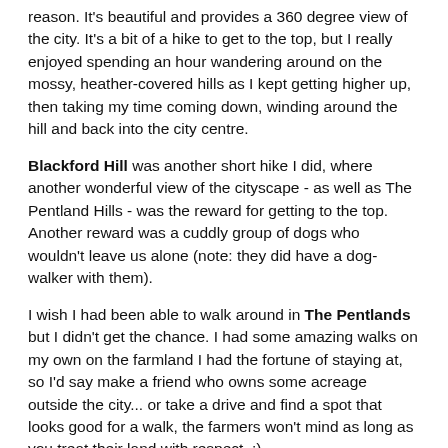reason. It's beautiful and provides a 360 degree view of the city. It's a bit of a hike to get to the top, but I really enjoyed spending an hour wandering around on the mossy, heather-covered hills as I kept getting higher up, then taking my time coming down, winding around the hill and back into the city centre.
Blackford Hill was another short hike I did, where another wonderful view of the cityscape - as well as The Pentland Hills - was the reward for getting to the top. Another reward was a cuddly group of dogs who wouldn't leave us alone (note: they did have a dog-walker with them).
I wish I had been able to walk around in The Pentlands but I didn't get the chance. I had some amazing walks on my own on the farmland I had the fortune of staying at, so I'd say make a friend who owns some acreage outside the city... or take a drive and find a spot that looks good for a walk, the farmers won't mind as long as you treat their land with respect. :)
The Botanic Gardens was a gorgeous walk you can make